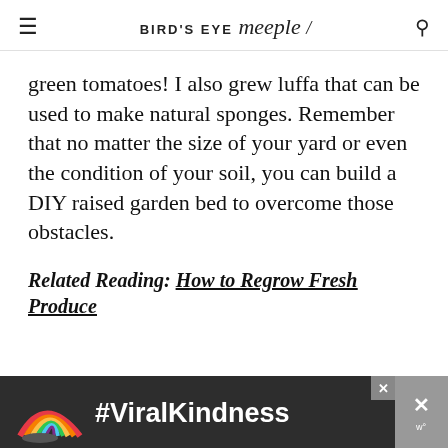BIRD'S EYE meeple
green tomatoes! I also grew luffa that can be used to make natural sponges. Remember that no matter the size of your yard or even the condition of your soil, you can build a DIY raised garden bed to overcome those obstacles.
Related Reading: How to Regrow Fresh Produce
[Figure (infographic): Advertisement banner with rainbow graphic and #ViralKindness text on dark background]